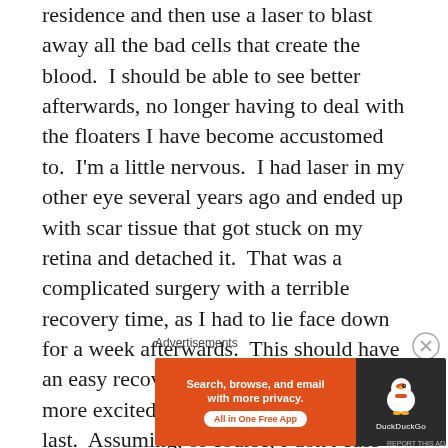residence and then use a laser to blast away all the bad cells that create the blood.  I should be able to see better afterwards, no longer having to deal with the floaters I have become accustomed to.  I'm a little nervous.  I had laser in my other eye several years ago and ended up with scar tissue that got stuck on my retina and detached it.  That was a complicated surgery with a terrible recovery time, as I had to lie face down for a week afterwards.  This should have an easy recovery, and I am significantly more excited about this surgery than the last.  Assuming, of course, I don't cuss out my doctor.
Advertisements
[Figure (other): DuckDuckGo advertisement banner with orange background on left saying 'Search, browse, and email with more privacy. All in One Free App' and dark right panel with DuckDuckGo duck logo and brand name.]